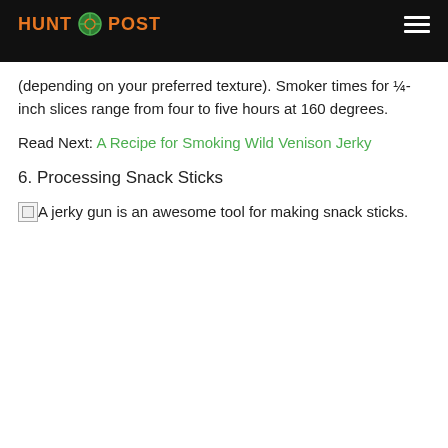HUNT POST
(depending on your preferred texture). Smoker times for ¼-inch slices range from four to five hours at 160 degrees.
Read Next: A Recipe for Smoking Wild Venison Jerky
6. Processing Snack Sticks
A jerky gun is an awesome tool for making snack sticks.